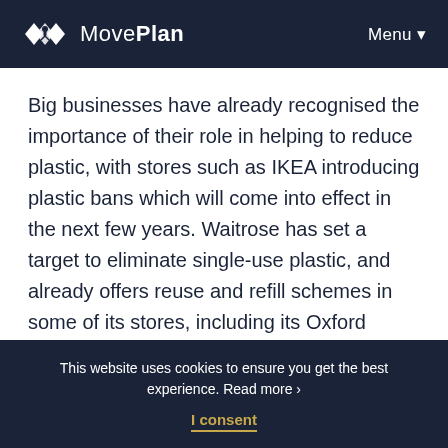MovePlan  Menu ▾
Big businesses have already recognised the importance of their role in helping to reduce plastic, with stores such as IKEA introducing plastic bans which will come into effect in the next few years. Waitrose has set a target to eliminate single-use plastic, and already offers reuse and refill schemes in some of its stores, including its Oxford branch where customers can fill their own containers with pasta, beer and... McDonald's have introduced paper straws to replace plastic versions.
This website uses cookies to ensure you get the best experience. Read more › I consent